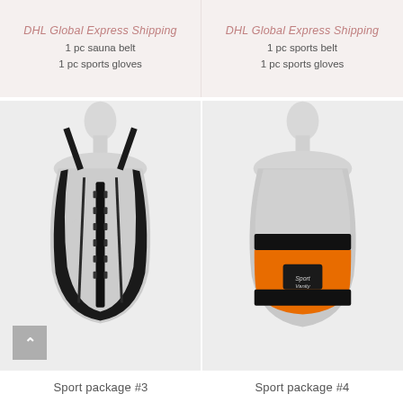DHL Global Express Shipping
1 pc sauna belt
1 pc sports gloves
DHL Global Express Shipping
1 pc sports belt
1 pc sports gloves
[Figure (photo): White mannequin torso wearing a black waist-training corset with hook-and-eye closure and shoulder straps]
[Figure (photo): White mannequin torso wearing an orange and black sports waist belt with a logo patch]
Sport package #3
Sport package #4